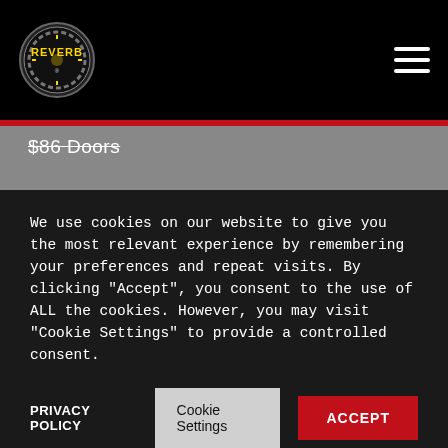[Figure (logo): Reverb logo — stylized circular badge with yellow/gold 'REVERB' text and gear/medal design on black background]
$86 Doors
Famed musician and actor Corey Feldman has announced the Love Retours (22 + A Few In 22) concert tour, his first US tour in five years. Featuring an all-new band, Feldman is hitting the road in support of his new
We use cookies on our website to give you the most relevant experience by remembering your preferences and repeat visits. By clicking "Accept", you consent to the use of ALL the cookies. However, you may visit "Cookie Settings" to provide a controlled consent.
PRIVACY POLICY
Cookie Settings
ACCEPT